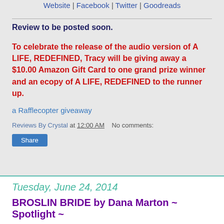Website | Facebook | Twitter | Goodreads
Review to be posted soon.
To celebrate the release of the audio version of A LIFE, REDEFINED, Tracy will be giving away a $10.00 Amazon Gift Card to one grand prize winner and an ecopy of A LIFE, REDEFINED to the runner up.
a Rafflecopter giveaway
Reviews By Crystal at 12:00 AM    No comments:
Share
Tuesday, June 24, 2014
BROSLIN BRIDE by Dana Marton ~ Spotlight ~